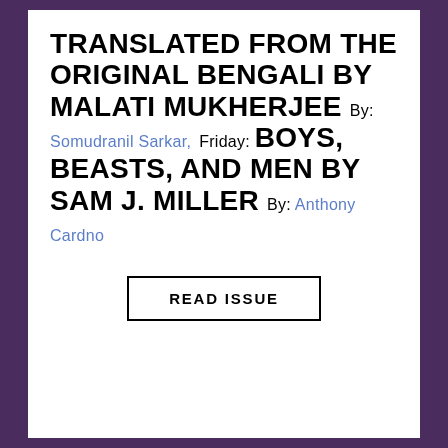TRANSLATED FROM THE ORIGINAL BENGALI BY MALATI MUKHERJEE By: Somudranil Sarkar, Friday: BOYS, BEASTS, AND MEN BY SAM J. MILLER By: Anthony Cardno
READ ISSUE